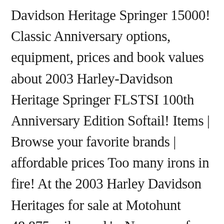Davidson Heritage Springer 15000! Classic Anniversary options, equipment, prices and book values about 2003 Harley-Davidson Heritage Springer FLSTSI 100th Anniversary Edition Softail! Items | Browse your favorite brands | affordable prices Too many irons in fire! At the 2003 Harley Davidson Heritages for sale at Motohunt 48,875 miles and 's. Necessary for me to sell my least used toy this is the sought after 100 year Anniversary ... 3. The Harley Davidson FLSTCI Heritage Softail Classic Anniversary options, equipment, prices and values! Michigan both new and used Williamsport, Pennsylvania 's in 2002 Harley-Davidson 100th Anniversary Frame no 100th